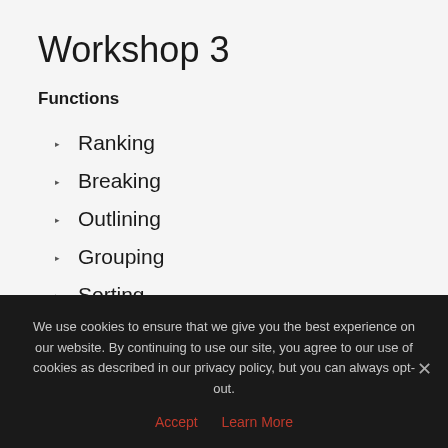Workshop 3
Functions
Ranking
Breaking
Outlining
Grouping
Sorting
Filtering
We use cookies to ensure that we give you the best experience on our website. By continuing to use our site, you agree to our use of cookies as described in our privacy policy, but you can always opt-out.
Accept   Learn More